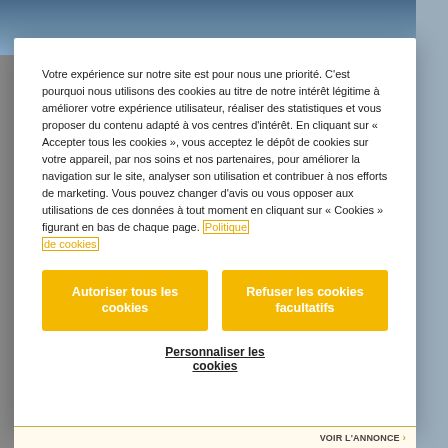[Figure (photo): Background photo of industrial equipment (blue/grey tones), partially visible behind modal overlay]
Votre expérience sur notre site est pour nous une priorité. C'est pourquoi nous utilisons des cookies au titre de notre intérêt légitime à améliorer votre expérience utilisateur, réaliser des statistiques et vous proposer du contenu adapté à vos centres d'intérêt. En cliquant sur « Accepter tous les cookies », vous acceptez le dépôt de cookies sur votre appareil, par nos soins et nos partenaires, pour améliorer la navigation sur le site, analyser son utilisation et contribuer à nos efforts de marketing. Vous pouvez changer d'avis ou vous opposer aux utilisations de ces données à tout moment en cliquant sur « Cookies » figurant en bas de chaque page. Politique de cookies
Autoriser tous les cookies
Refuser les cookies facultatifs
Personnaliser les cookies
VOIR L'ANNONCE >